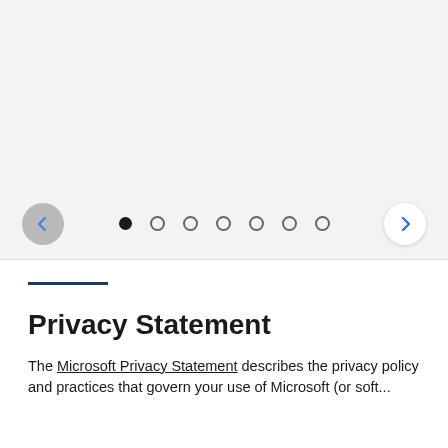[Figure (screenshot): Carousel/slideshow UI element with left arrow button (gray circle), seven pagination dots (first filled, rest empty outline), and right arrow button (white circle). Gray background area.]
Privacy Statement
The Microsoft Privacy Statement describes the privacy policy and practices that govern your use of Microsoft (or soft...